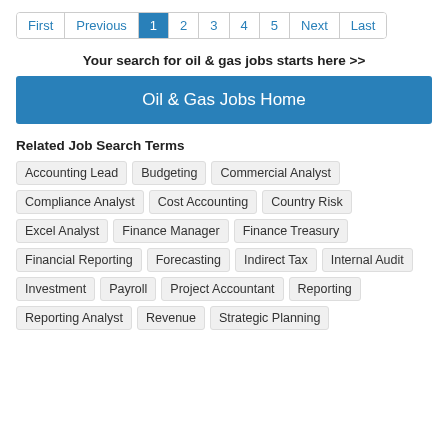First Previous 1 2 3 4 5 Next Last
Your search for oil & gas jobs starts here >>
Oil & Gas Jobs Home
Related Job Search Terms
Accounting Lead
Budgeting
Commercial Analyst
Compliance Analyst
Cost Accounting
Country Risk
Excel Analyst
Finance Manager
Finance Treasury
Financial Reporting
Forecasting
Indirect Tax
Internal Audit
Investment
Payroll
Project Accountant
Reporting
Reporting Analyst
Revenue
Strategic Planning